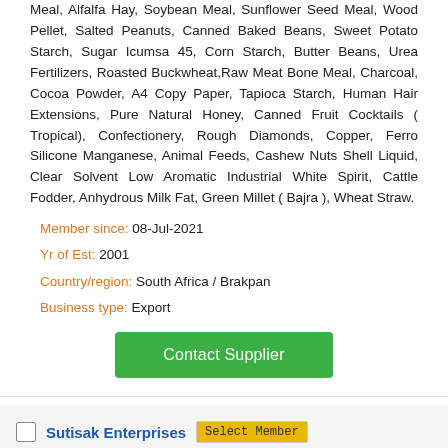Meal, Alfalfa Hay, Soybean Meal, Sunflower Seed Meal, Wood Pellet, Salted Peanuts, Canned Baked Beans, Sweet Potato Starch, Sugar Icumsa 45, Corn Starch, Butter Beans, Urea Fertilizers, Roasted Buckwheat,Raw Meat Bone Meal, Charcoal, Cocoa Powder, A4 Copy Paper, Tapioca Starch, Human Hair Extensions, Pure Natural Honey, Canned Fruit Cocktails ( Tropical), Confectionery, Rough Diamonds, Copper, Ferro Silicone Manganese, Animal Feeds, Cashew Nuts Shell Liquid, Clear Solvent Low Aromatic Industrial White Spirit, Cattle Fodder, Anhydrous Milk Fat, Green Millet ( Bajra ), Wheat Straw.
Member since: 08-Jul-2021
Yr of Est: 2001
Country/region: South Africa / Brakpan
Business type: Export
Contact Supplier
Sutisak Enterprises
Exporter from Thailand